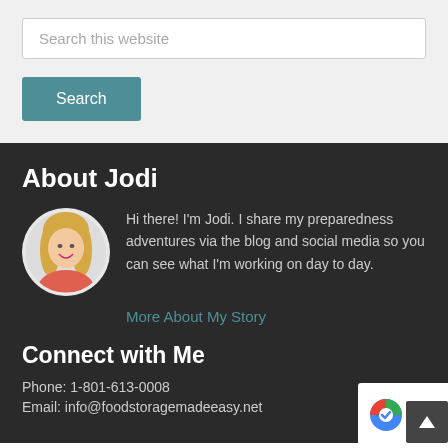Search this website
Search
About Jodi
[Figure (photo): Circular portrait photo of Jodi, a blonde woman wearing a pink/coral top, smiling]
Hi there! I’m Jodi. I share my preparedness adventures via the blog and social media so you can see what I’m working on day to day.
More About My Story
Connect with Me
Phone: 1-801-613-0008
Email: info@foodstoragemadeeasy.net